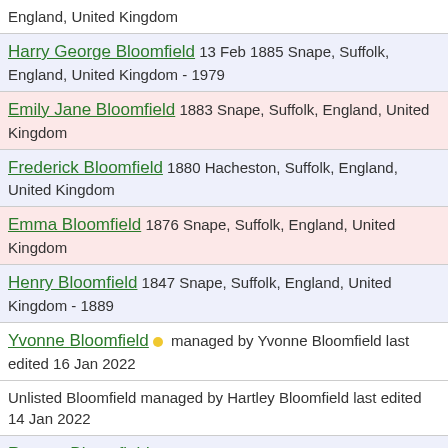England, United Kingdom
Harry George Bloomfield 13 Feb 1885 Snape, Suffolk, England, United Kingdom - 1979
Emily Jane Bloomfield 1883 Snape, Suffolk, England, United Kingdom
Frederick Bloomfield 1880 Hacheston, Suffolk, England, United Kingdom
Emma Bloomfield 1876 Snape, Suffolk, England, United Kingdom
Henry Bloomfield 1847 Snape, Suffolk, England, United Kingdom - 1889
Yvonne Bloomfield • managed by Yvonne Bloomfield last edited 16 Jan 2022
Unlisted Bloomfield managed by Hartley Bloomfield last edited 14 Jan 2022
Roscoe Bloomfield 05 Aug 1906 Joplin, Jasper,